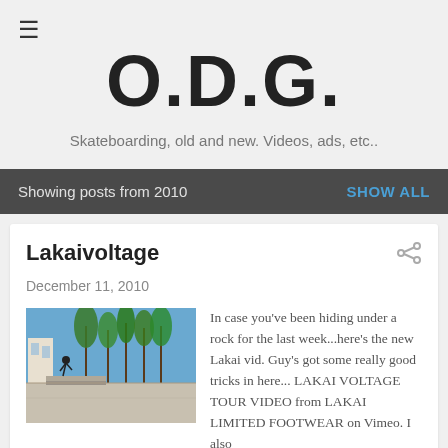≡
O.D.G.
Skateboarding, old and new. Videos, ads, etc..
Showing posts from 2010    SHOW ALL
Lakaivoltage
December 11, 2010
[Figure (photo): Outdoor skatepark scene with palm trees, skater on ledge, blue sky]
In case you've been hiding under a rock for the last week...here's the new Lakai vid. Guy's got some really good tricks in here... LAKAI VOLTAGE TOUR VIDEO from LAKAI LIMITED FOOTWEAR on Vimeo. I also